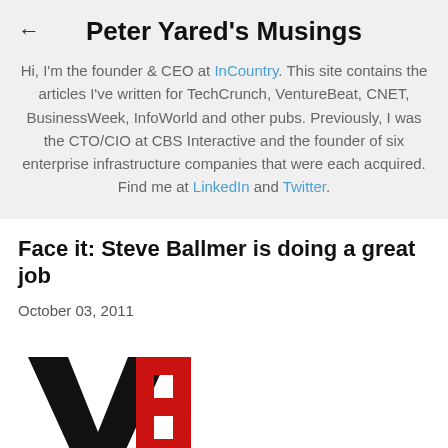Peter Yared's Musings
Hi, I'm the founder & CEO at InCountry. This site contains the articles I've written for TechCrunch, VentureBeat, CNET, BusinessWeek, InfoWorld and other pubs. Previously, I was the CTO/CIO at CBS Interactive and the founder of six enterprise infrastructure companies that were each acquired. Find me at LinkedIn and Twitter.
Face it: Steve Ballmer is doing a great job
October 03, 2011
[Figure (logo): VentureBeat logo — large black V and red B letters with 'VentureBeat' text below in black and red]